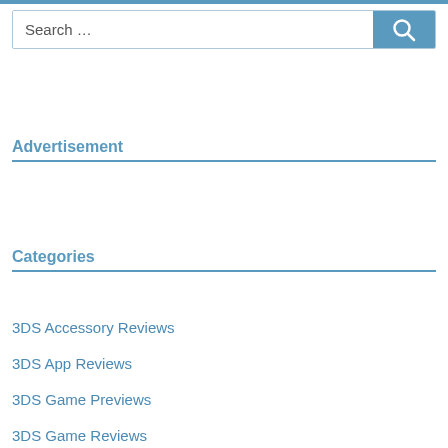[Figure (screenshot): Search bar with text 'Search ...' and a blue search button with magnifying glass icon]
Advertisement
Categories
3DS Accessory Reviews
3DS App Reviews
3DS Game Previews
3DS Game Reviews
3DS How To